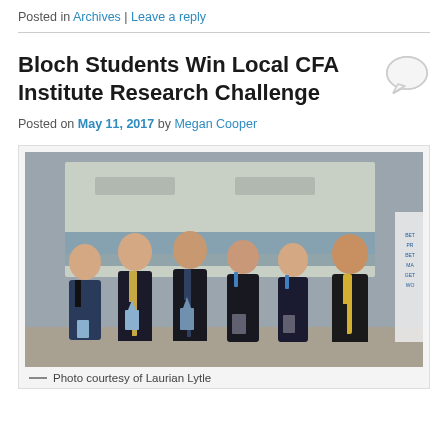Posted in Archives | Leave a reply
Bloch Students Win Local CFA Institute Research Challenge
Posted on May 11, 2017 by Megan Cooper
[Figure (photo): Group photo of five students and one faculty/judge holding trophies/awards in front of a CFA Institute screen, taken at the local CFA Institute Research Challenge event.]
Photo courtesy of Laurian Lytle